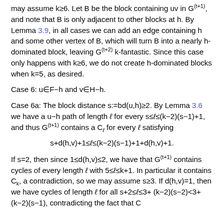may assume k≥6. Let B be the block containing uv in G^(t+1), and note that B is only adjacent to other blocks at h. By Lemma 3.9, in all cases we can add an edge containing h and some other vertex of B, which will turn B into a nearly h-dominated block, leaving G^(t+2) k-fantastic. Since this case only happens with k≥6, we do not create h-dominated blocks when k=5, as desired.
Case 6: u∈F−h and v∈H−h.
Case 6a: The block distance s:=bd(u,h)≥2. By Lemma 3.6 we have a u−h path of length ℓ for every s≤ℓ≤(k−2)(s−1)+1, and thus G^(t+1) contains a C_ℓ for every ℓ satisfying
If s=2, then since 1≤d(h,v)≤2, we have that G^(t+1) contains cycles of every length ℓ with 5≤ℓ≤k+1. In particular it contains C_k, a contradiction, so we may assume s≥3. If d(h,v)=1, then we have cycles of length ℓ for all s+2≤ℓ≤3+(k−2)(s−2)<3+(k−2)(s−1), contradicting the fact that C